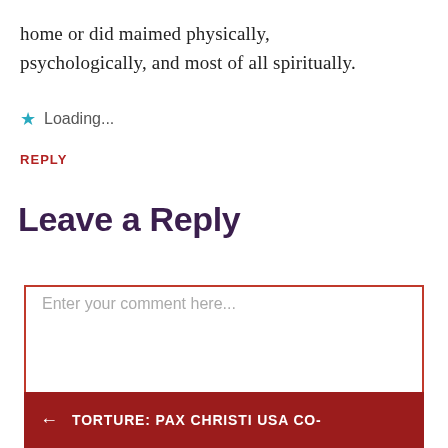home or did maimed physically, psychologically, and most of all spiritually.
★ Loading...
REPLY
Leave a Reply
Enter your comment here...
← TORTURE: PAX CHRISTI USA CO-